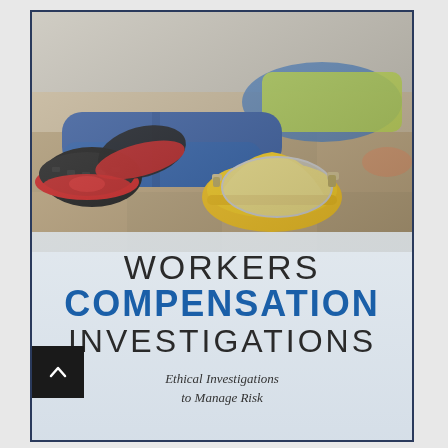[Figure (photo): A downed worker in blue jeans and a yellow hi-vis jacket lying on a floor. A yellow hard hat with a clear face shield has fallen beside them. The worker's heavy black work boots with red soles are visible in the foreground.]
WORKERS COMPENSATION INVESTIGATIONS
Ethical Investigations to Manage Risk